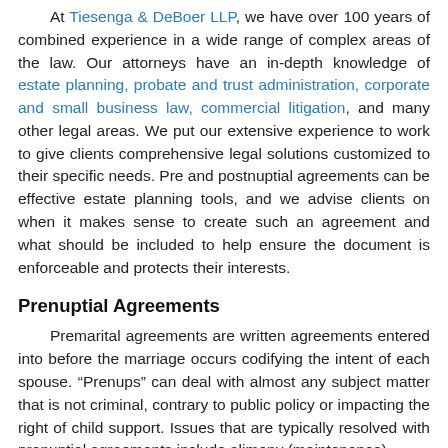At Tiesenga & DeBoer LLP, we have over 100 years of combined experience in a wide range of complex areas of the law. Our attorneys have an in-depth knowledge of estate planning, probate and trust administration, corporate and small business law, commercial litigation, and many other legal areas. We put our extensive experience to work to give clients comprehensive legal solutions customized to their specific needs. Pre and postnuptial agreements can be effective estate planning tools, and we advise clients on when it makes sense to create such an agreement and what should be included to help ensure the document is enforceable and protects their interests.
Prenuptial Agreements
Premarital agreements are written agreements entered into before the marriage occurs codifying the intent of each spouse. "Prenups" can deal with almost any subject matter that is not criminal, contrary to public policy or impacting the right of child support. Issues that are typically resolved with prenuptial agreements include alimony (maintenance)